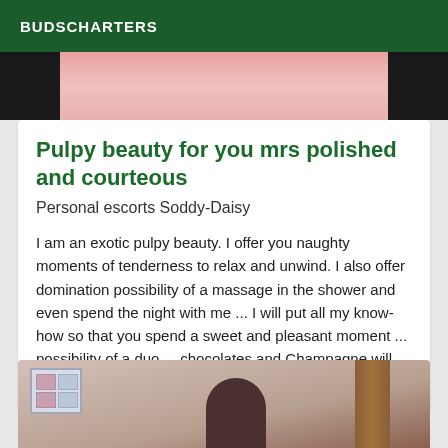BUDSCHARTERS
[Figure (photo): Partial top image showing dark background with light-colored subject, cropped at top of card]
Pulpy beauty for you mrs polished and courteous
Personal escorts Soddy-Daisy
I am an exotic pulpy beauty. I offer you naughty moments of tenderness to relax and unwind. I also offer domination possibility of a massage in the shower and even spend the night with me ... I will put all my know-how so that you spend a sweet and pleasant moment ... possibility of a duo ... chocolates and Champagne will always be a pleasure ...
[Figure (photo): Bottom photo showing interior room with window with colored panes on left, wooden door on right, and dark-haired figure in foreground]